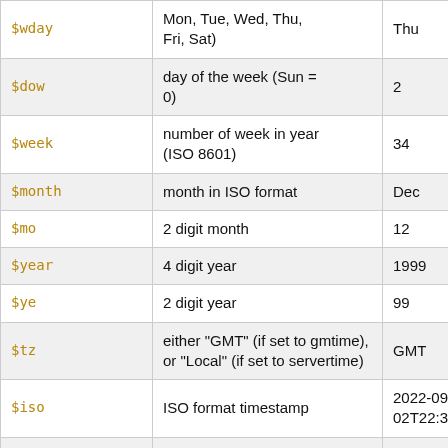| Variable | Description | Example |
| --- | --- | --- |
| $wday | Mon, Tue, Wed, Thu, Fri, Sat) | Thu |
| $dow | day of the week (Sun = 0) | 2 |
| $week | number of week in year (ISO 8601) | 34 |
| $month | month in ISO format | Dec |
| $mo | 2 digit month | 12 |
| $year | 4 digit year | 1999 |
| $ye | 2 digit year | 99 |
| $tz | either "GMT" (if set to gmtime), or "Local" (if set to servertime) | GMT |
| $iso | ISO format timestamp | 2022-09-02T22:32:06Z |
| $rcs | RCS format timestamp | 2022/09/02 22:32:06 |
| $http | E-mail & http format timestamp | Fri, 02 Sep 2022 22:32:06 GMT |
| $epoch | Number of seconds since 00:00 on 1st | 1662157026 |